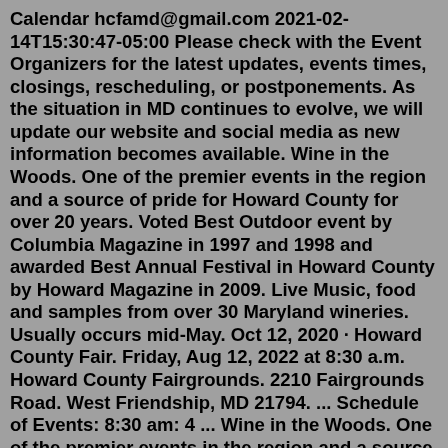Calendar hcfamd@gmail.com 2021-02-14T15:30:47-05:00 Please check with the Event Organizers for the latest updates, events times, closings, rescheduling, or postponements. As the situation in MD continues to evolve, we will update our website and social media as new information becomes available. Wine in the Woods. One of the premier events in the region and a source of pride for Howard County for over 20 years. Voted Best Outdoor event by Columbia Magazine in 1997 and 1998 and awarded Best Annual Festival in Howard County by Howard Magazine in 2009. Live Music, food and samples from over 30 Maryland wineries. Usually occurs mid-May. Oct 12, 2020 · Howard County Fair. Friday, Aug 12, 2022 at 8:30 a.m. Howard County Fairgrounds. 2210 Fairgrounds Road. West Friendship, MD 21794. ... Schedule of Events: 8:30 am: 4 ... Wine in the Woods. One of the premier events in the region and a source of pride for Howard County for over 20 years. Voted Best Outdoor event by Columbia Magazine in 1997 and 1998 and awarded Best Annual Festival in Howard County by Howard Magazine in 2009.